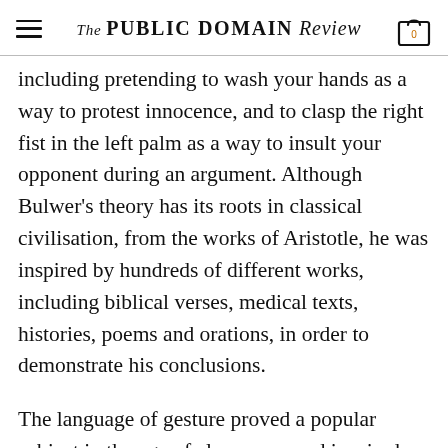The PUBLIC DOMAIN REVIEW
including pretending to wash your hands as a way to protest innocence, and to clasp the right fist in the left palm as a way to insult your opponent during an argument. Although Bulwer’s theory has its roots in classical civilisation, from the works of Aristotle, he was inspired by hundreds of different works, including biblical verses, medical texts, histories, poems and orations, in order to demonstrate his conclusions.
The language of gesture proved a popular subject in the age of eloquence, and inspired many similar works. Below is some text that continues from here.